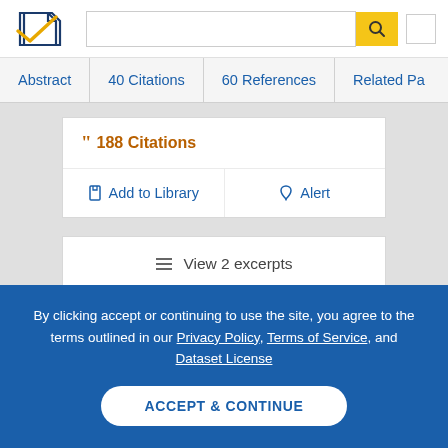[Figure (logo): Semantic Scholar logo - blue checkmark with paper pages icon]
Abstract | 40 Citations | 60 References | Related Pa...
188 Citations
Add to Library   Alert
View 2 excerpts
By clicking accept or continuing to use the site, you agree to the terms outlined in our Privacy Policy, Terms of Service, and Dataset License
ACCEPT & CONTINUE